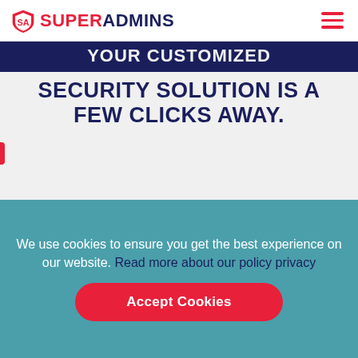SUPER ADMINS
YOUR CUSTOMIZED SECURITY SOLUTION IS A FEW CLICKS AWAY.
Ask our experts about the ultimate security strategy.
We use cookies to ensure you get the best experience on our website. Read more about our policy privacy
Accept Cookies